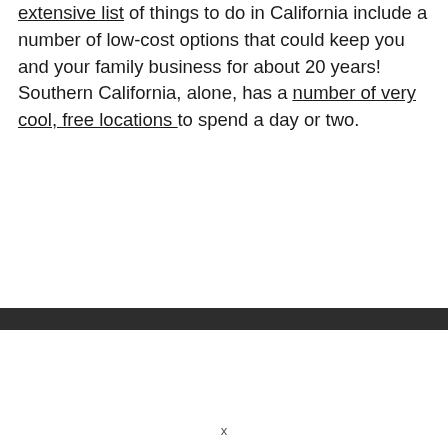extensive list of things to do in California include a number of low-cost options that could keep you and your family business for about 20 years!  Southern California, alone, has a number of very cool, free locations to spend a day or two.
x